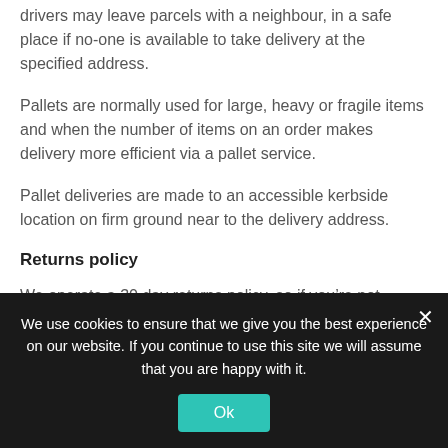drivers may leave parcels with a neighbour, in a safe place if no-one is available to take delivery at the specified address.
Pallets are normally used for large, heavy or fragile items and when the number of items on an order makes delivery more efficient via a pallet service.
Pallet deliveries are made to an accessible kerbside location on firm ground near to the delivery address.
Returns policy
We operate a 30 day returns policy, so if you’re not completely satisfied with your purchase, you can return your order within 30 days of receiving it.
To ...
We use cookies to ensure that we give you the best experience on our website. If you continue to use this site we will assume that you are happy with it.